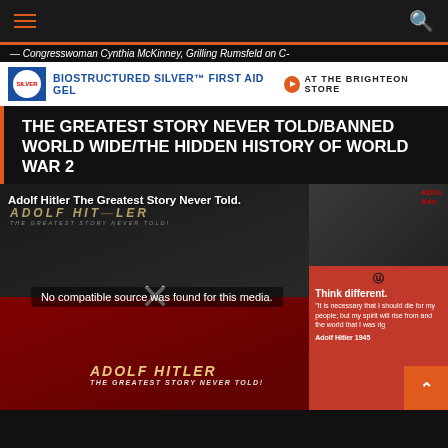Navigation header with hamburger menu and search icon
— Congresswoman Cynthia McKinney, Grilling Rumsfeld on C-
[Figure (other): Advertisement banner: BIOSTRUCTURED SILVER™ FIRST AID GEL AT THE BRIGHTEON STORE]
THE GREATEST STORY NEVER TOLD/BANNED WORLD WIDE/THE HIDDEN HISTORY OF WORLD WAR 2
[Figure (other): Video player showing Adolf Hitler The Greatest Story Never Told with message: No compatible source was found for this media. Contains movie poster collage with swastika imagery and text ADOLF HITLER THE GREATEST STORY NEVER TOLD, with a Think different parody quote attributed to Adolf Hitler 1945.]